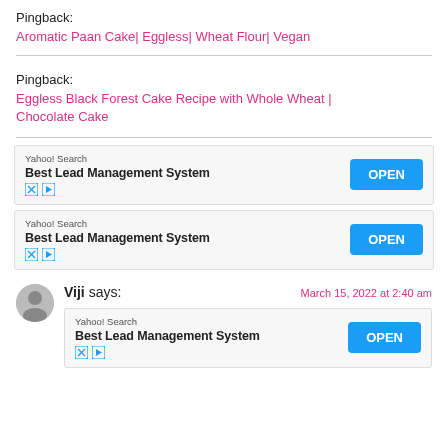Pingback: Aromatic Paan Cake| Eggless| Wheat Flour| Vegan
Pingback: Eggless Black Forest Cake Recipe with Whole Wheat | Chocolate Cake
[Figure (screenshot): Yahoo! Search ad for Best Lead Management System with OPEN button]
[Figure (screenshot): Yahoo! Search ad for Best Lead Management System with OPEN button]
Viji says: March 15, 2022 at 2:40 am
[Figure (screenshot): Yahoo! Search ad for Best Lead Management System with OPEN button]